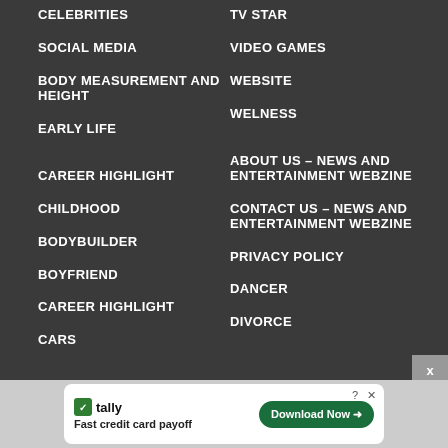CELEBRITIES
TV STAR
SOCIAL MEDIA
VIDEO GAMES
BODY MEASUREMENT AND HEIGHT
WEBSITE
WELNESS
EARLY LIFE
CAREER HIGHLIGHT
ABOUT US – NEWS AND ENTERTAINMENT WEBZINE
CHILDHOOD
CONTACT US – NEWS AND ENTERTAINMENT WEBZINE
BODYBUILDER
PRIVACY POLICY
BOYFRIEND
DANCER
CAREER HIGHLIGHT
DIVORCE
CARS
[Figure (infographic): Tally advertisement banner: Fast credit card payoff, Download Now button]